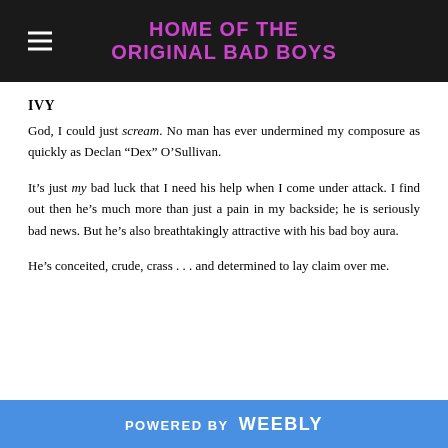HOME OF THE ORIGINAL BAD BOYS
IVY
God, I could just scream. No man has ever undermined my composure as quickly as Declan “Dex” O’Sullivan.
It’s just my bad luck that I need his help when I come under attack. I find out then he’s much more than just a pain in my backside; he is seriously bad news. But he’s also breathtakingly attractive with his bad boy aura.
He’s conceited, crude, crass . . . and determined to lay claim over me.
POWERED BY weebly